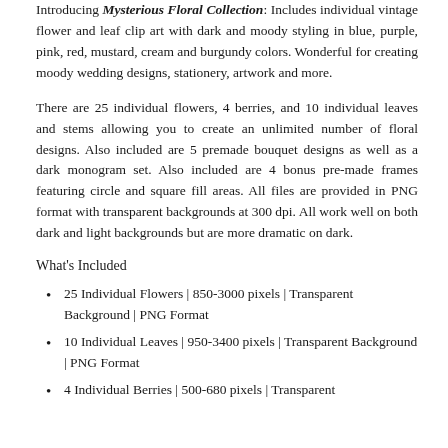Introducing Mysterious Floral Collection: Includes individual vintage flower and leaf clip art with dark and moody styling in blue, purple, pink, red, mustard, cream and burgundy colors. Wonderful for creating moody wedding designs, stationery, artwork and more.
There are 25 individual flowers, 4 berries, and 10 individual leaves and stems allowing you to create an unlimited number of floral designs. Also included are 5 premade bouquet designs as well as a dark monogram set. Also included are 4 bonus pre-made frames featuring circle and square fill areas. All files are provided in PNG format with transparent backgrounds at 300 dpi. All work well on both dark and light backgrounds but are more dramatic on dark.
What's Included
25 Individual Flowers | 850-3000 pixels | Transparent Background | PNG Format
10 Individual Leaves | 950-3400 pixels | Transparent Background | PNG Format
4 Individual Berries | 500-680 pixels | Transparent